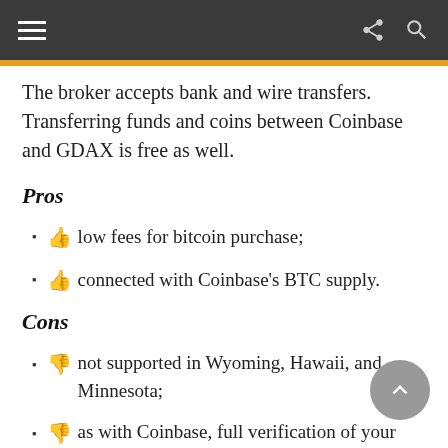The broker accepts bank and wire transfers. Transferring funds and coins between Coinbase and GDAX is free as well.
Pros
low fees for bitcoin purchase;
connected with Coinbase's BTC supply.
Cons
not supported in Wyoming, Hawaii, and Minnesota;
as with Coinbase, full verification of your